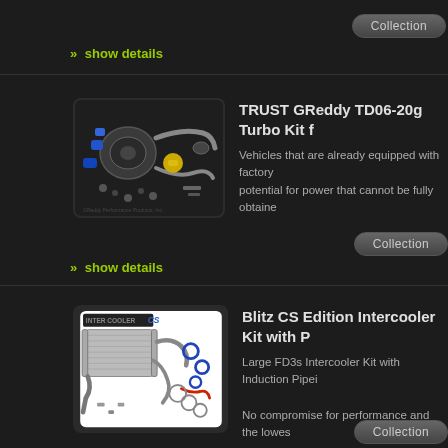Collection
>> show details
[Figure (photo): TRUST GReddy TD06-20g Turbo Kit parts laid out including turbocharger, intercooler piping, blue couplers, yellow blow-off valve, and various hardware components]
TRUST GReddy TD06-20g Turbo Kit f
Vehicles that are already equipped with factory potential for power that cannot be fully obtaine
Collection
>> show details
[Figure (photo): Blitz CS Edition Intercooler Kit with piping, intercooler core, blue couplers, clamps, and various fittings laid out on white background. INTER COOLER CS logo visible.]
Blitz CS Edition Intercooler Kit with P
Large FD3s Intercooler Kit with Induction Pipei
No compromise for performance and the lowes
Collection